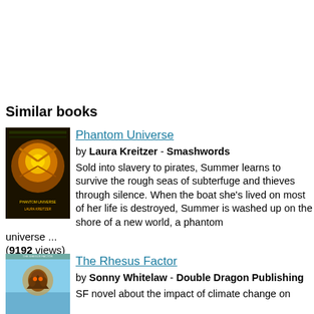Similar books
[Figure (illustration): Book cover for Phantom Universe by Laura Kreitzer, showing golden mechanical/steampunk elements on dark background with the author's name visible]
Phantom Universe
by Laura Kreitzer - Smashwords
Sold into slavery to pirates, Summer learns to survive the rough seas of subterfuge and thieves through silence. When the boat she's lived on most of her life is destroyed, Summer is washed up on the shore of a new world, a phantom universe ...
(9192 views)
[Figure (illustration): Book cover for The Rhesus Factor by Sonny Whitelaw, showing a bird or eagle-like creature against a blue sky background]
The Rhesus Factor
by Sonny Whitelaw - Double Dragon Publishing
SF novel about the impact of climate change on